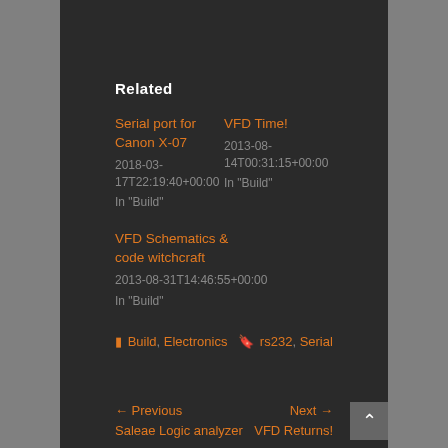Related
Serial port for Canon X-07
2018-03-17T22:19:40+00:00
In "Build"
VFD Time!
2013-08-14T00:31:15+00:00
In "Build"
VFD Schematics & code witchcraft
2013-08-31T14:46:55+00:00
In "Build"
Build, Electronics   rs232, Serial
← Previous Saleae Logic analyzer    Next → VFD Returns!